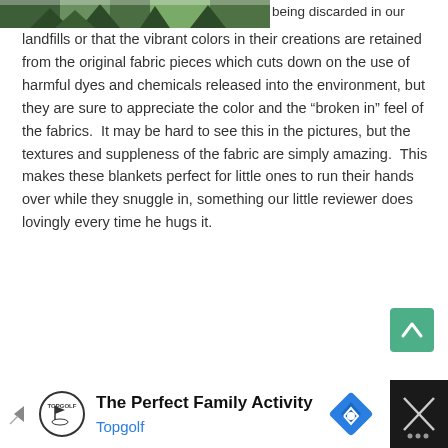[Figure (photo): Partial photo of trees/outdoor scene at top left]
being discarded in our landfills or that the vibrant colors in their creations are retained from the original fabric pieces which cuts down on the use of harmful dyes and chemicals released into the environment, but they are sure to appreciate the color and the “broken in” feel of the fabrics.  It may be hard to see this in the pictures, but the textures and suppleness of the fabric are simply amazing.  This makes these blankets perfect for little ones to run their hands over while they snuggle in, something our little reviewer does lovingly every time he hugs it.
[Figure (other): Green scroll-to-top button with upward chevron arrow]
[Figure (other): Advertisement banner: The Perfect Family Activity - Topgolf, with Topgolf logo, navigation arrow icon, and close button]